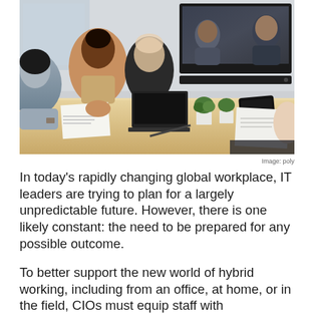[Figure (photo): A hybrid work meeting scene: several people sit around a conference table with laptops, tablets, and papers. A large TV screen on the wall displays a video call with remote participants. Plants decorate the table.]
Image: poly
In today's rapidly changing global workplace, IT leaders are trying to plan for a largely unpredictable future. However, there is one likely constant: the need to be prepared for any possible outcome.
To better support the new world of hybrid working, including from an office, at home, or in the field, CIOs must equip staff with collaboration technology to